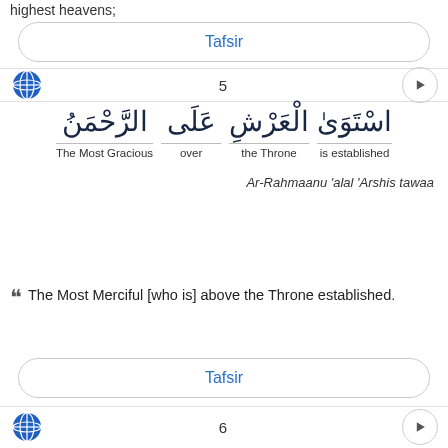highest heavens;
Tafsir
5
[Figure (other): Arabic Quran verse 5 with word-by-word English translation: Ar-Rahman (The Most Gracious) 'ala (over) al-'Arsh (the Throne) istawa (is established)]
Ar-Rahmaanu 'alal 'Arshis tawaa
The Most Merciful [who is] above the Throne established.
Tafsir
6